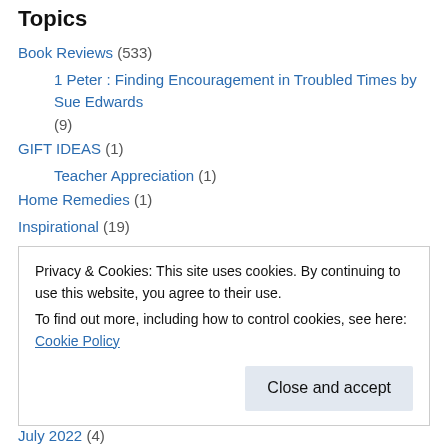Topics
Book Reviews (533)
1 Peter : Finding Encouragement in Troubled Times by Sue Edwards (9)
GIFT IDEAS (1)
Teacher Appreciation (1)
Home Remedies (1)
Inspirational (19)
BURDENS (2)
CHRISTMAS (2)
PERSEVERANCE (1)
PURITY (1)
RELATIONSHIPS (1)
Privacy & Cookies: This site uses cookies. By continuing to use this website, you agree to their use.
To find out more, including how to control cookies, see here: Cookie Policy
July 2022 (4)